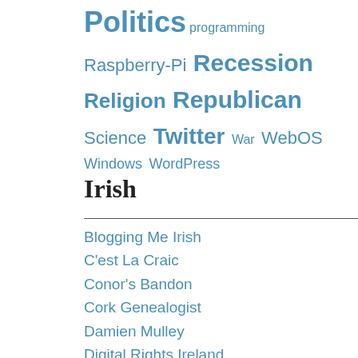Politics programming Raspberry-Pi Recession Religion Republican Science Twitter War WebOS Windows WordPress
Irish
Blogging Me Irish
C'est La Craic
Conor's Bandon
Cork Genealogist
Damien Mulley
Digital Rights Ireland
Gavins Blog
GUBU
Holy Shmoly!
IrishEyes
James Galvin